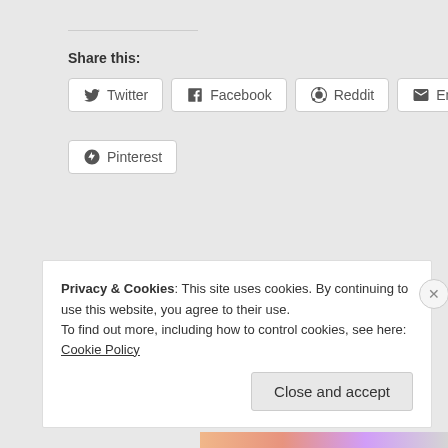Share this:
Twitter
Facebook
Reddit
Email
Pinterest
[Figure (other): Like button with star icon and blogger avatar thumbnail]
One blogger likes this.
Privacy & Cookies: This site uses cookies. By continuing to use this website, you agree to their use.
To find out more, including how to control cookies, see here: Cookie Policy
Close and accept